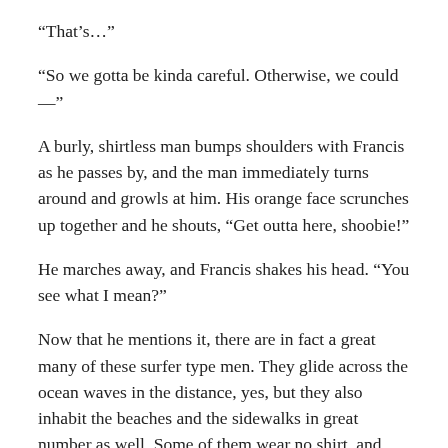“That’s…”
“So we gotta be kinda careful. Otherwise, we could—”
A burly, shirtless man bumps shoulders with Francis as he passes by, and the man immediately turns around and growls at him. His orange face scrunches up together and he shouts, “Get outta here, shoobie!”
He marches away, and Francis shakes his head. “You see what I mean?”
Now that he mentions it, there are in fact a great many of these surfer type men. They glide across the ocean waves in the distance, yes, but they also inhabit the beaches and the sidewalks in great number as well. Some of them wear no shirt, and some of them wear elaborate American Flag outfits. Almost all of them carry surf boards with them. Almost all of them are tan skinned and blonde-haired.